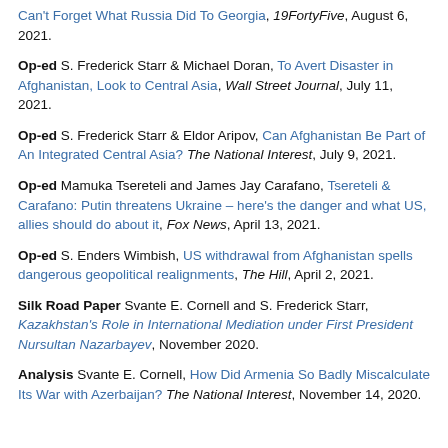Can't Forget What Russia Did To Georgia, 19FortyFive, August 6, 2021.
Op-ed S. Frederick Starr & Michael Doran, To Avert Disaster in Afghanistan, Look to Central Asia, Wall Street Journal, July 11, 2021.
Op-ed S. Frederick Starr & Eldor Aripov, Can Afghanistan Be Part of An Integrated Central Asia? The National Interest, July 9, 2021.
Op-ed Mamuka Tsereteli and James Jay Carafano, Tsereteli & Carafano: Putin threatens Ukraine – here's the danger and what US, allies should do about it, Fox News, April 13, 2021.
Op-ed S. Enders Wimbish, US withdrawal from Afghanistan spells dangerous geopolitical realignments, The Hill, April 2, 2021.
Silk Road Paper Svante E. Cornell and S. Frederick Starr, Kazakhstan's Role in International Mediation under First President Nursultan Nazarbayev, November 2020.
Analysis Svante E. Cornell, How Did Armenia So Badly Miscalculate Its War with Azerbaijan? The National Interest, November 14, 2020.